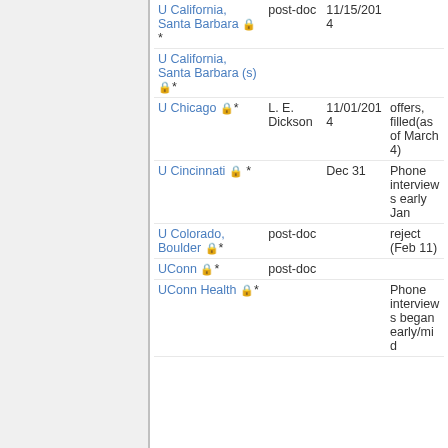| Institution | Type | Date | Notes |
| --- | --- | --- | --- |
| U California, Santa Barbara 🔒* | post-doc | 11/15/2014 |  |
| U California, Santa Barbara (s) 🔒* |  |  |  |
| U Chicago 🔒* | L. E. Dickson | 11/01/2014 | offers, filled(as of March 4) |
| U Cincinnati 🔒 * |  | Dec 31 | Phone interviews early Jan |
| U Colorado, Boulder 🔒* | post-doc |  | reject (Feb 11) |
| UConn 🔒* | post-doc |  |  |
| UConn Health 🔒* |  |  | Phone interviews began early/mid |